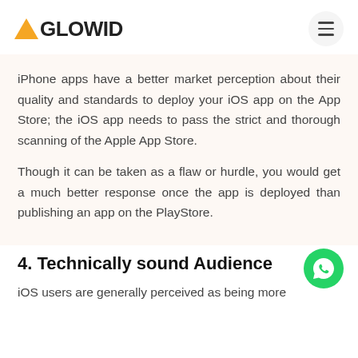AGLOWID
iPhone apps have a better market perception about their quality and standards to deploy your iOS app on the App Store; the iOS app needs to pass the strict and thorough scanning of the Apple App Store.
Though it can be taken as a flaw or hurdle, you would get a much better response once the app is deployed than publishing an app on the PlayStore.
4. Technically sound Audience
iOS users are generally perceived as being more